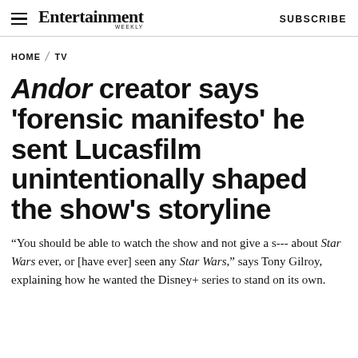Entertainment Weekly   SUBSCRIBE
HOME / TV
Andor creator says 'forensic manifesto' he sent Lucasfilm unintentionally shaped the show's storyline
“You should be able to watch the show and not give a s--- about Star Wars ever, or [have ever] seen any Star Wars,” says Tony Gilroy, explaining how he wanted the Disney+ series to stand on its own.